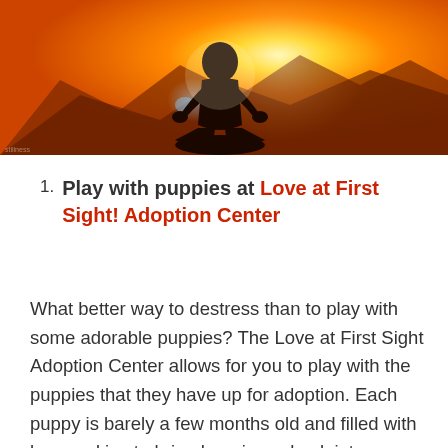[Figure (photo): A silhouetted person meditating in lotus position against a warm orange/golden sunset sky with mountains in the background and a bright light halo effect.]
Play with puppies at Love at First Sight! Adoption Center
What better way to destress than to play with some adorable puppies? The Love at First Sight Adoption Center allows for you to play with the puppies that they have up for adoption. Each puppy is barely a few months old and filled with love and joy to bring happiness back into your heart while dealing with the stress of finals. Puppies are always the answer to